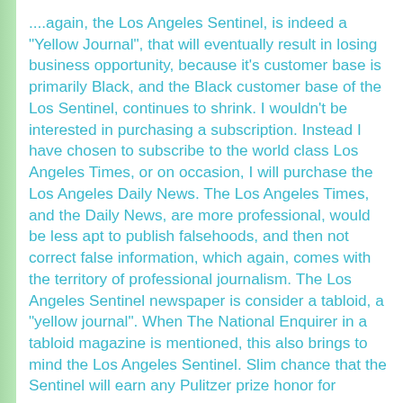....again, the Los Angeles Sentinel, is indeed a "Yellow Journal", that will eventually result in losing business opportunity, because it's customer base is primarily Black, and the Black customer base of the Los Sentinel, continues to shrink. I wouldn't be interested in purchasing a subscription. Instead I have chosen to subscribe to the world class Los Angeles Times, or on occasion, I will purchase the Los Angeles Daily News. The Los Angeles Times, and the Daily News, are more professional, would be less apt to publish falsehoods, and then not correct false information, which again, comes with the territory of professional journalism. The Los Angeles Sentinel newspaper is consider a tabloid, a "yellow journal". When The National Enquirer in a tabloid magazine is mentioned, this also brings to mind the Los Angeles Sentinel. Slim chance that the Sentinel will earn any Pulitzer prize honor for